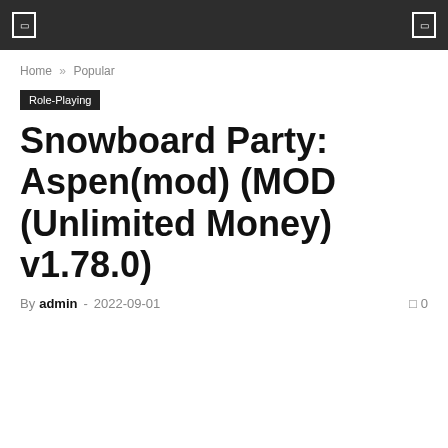Home » Popular
Role-Playing
Snowboard Party: Aspen(mod) (MOD (Unlimited Money) v1.78.0)
By admin - 2022-09-01  0